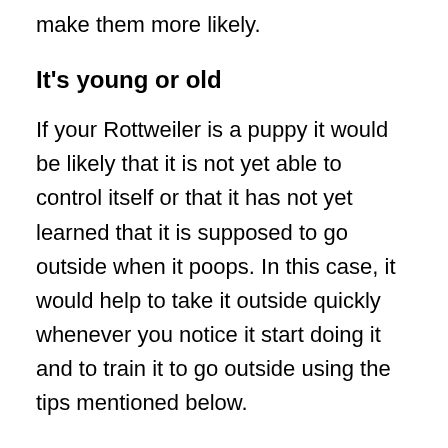make them more likely.
It's young or old
If your Rottweiler is a puppy it would be likely that it is not yet able to control itself or that it has not yet learned that it is supposed to go outside when it poops. In this case, it would help to take it outside quickly whenever you notice it start doing it and to train it to go outside using the tips mentioned below.
On the other hand, it could be the case that it is not able to control itself like it used to be able to. In this case, it would help to let it out